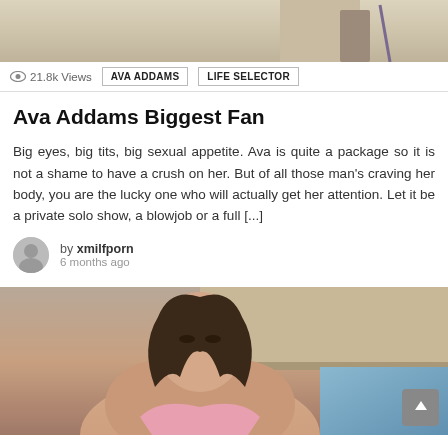[Figure (photo): Partial photo cropped at top showing legs/heels on light background]
21.8k Views  AVA ADDAMS  LIFE SELECTOR
Ava Addams Biggest Fan
Big eyes, big tits, big sexual appetite. Ava is quite a package so it is not a shame to have a crush on her. But of all those man's craving her body, you are the lucky one who will actually get her attention. Let it be a private solo show, a blowjob or a full [...]
by xmilfporn
6 months ago
[Figure (photo): Woman with dark wavy hair leaning forward, photographed from low angle]